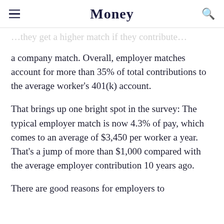Money
a company match. Overall, employer matches account for more than 35% of total contributions to the average worker's 401(k) account.
That brings up one bright spot in the survey: The typical employer match is now 4.3% of pay, which comes to an average of $3,450 per worker a year. That's a jump of more than $1,000 compared with the average employer contribution 10 years ago.
There are good reasons for employers to